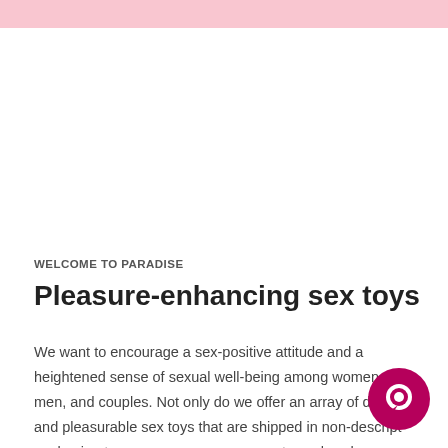WELCOME TO PARADISE
Pleasure-enhancing sex toys
We want to encourage a sex-positive attitude and a heightened sense of sexual well-being among women, men, and couples. Not only do we offer an array of discreet and pleasurable sex toys that are shipped in non-descript packaging to preserve your p... ut we also share sexual advice, education, and discussions. It... goal to have a positive effect on women, men, and couples of all
[Figure (other): Pink chat bubble / customer support icon in the bottom-right corner]